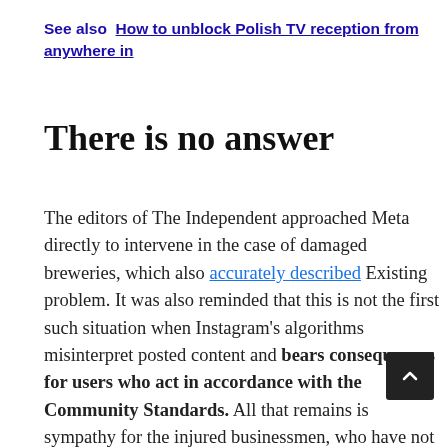See also  How to unblock Polish TV reception from anywhere in
There is no answer
The editors of The Independent approached Meta directly to intervene in the case of damaged breweries, which also accurately described Existing problem. It was also reminded that this is not the first such situation when Instagram's algorithms misinterpret posted content and bears consequences for users who act in accordance with the Community Standards. All that remains is sympathy for the injured businessmen, who have not had a moment of rest lately. As practice shows, running a business on the Internet is not easy. Especially when there is a large